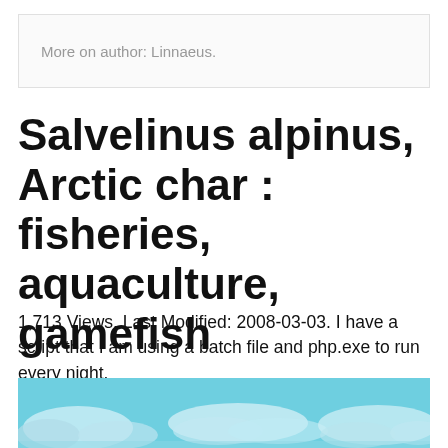More on author: Linnaeus.
Salvelinus alpinus, Arctic char : fisheries, aquaculture, gamefish
1,713 Views. Last Modified: 2008-03-03. I have a script that I am using a batch file and php.exe to run every night.
[Figure (photo): Sky with clouds, light blue tones, partial view]